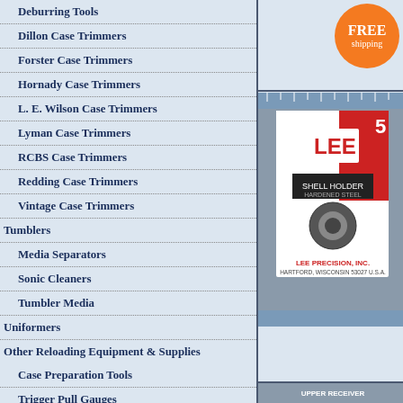Deburring Tools
Dillon Case Trimmers
Forster Case Trimmers
Hornady Case Trimmers
L. E. Wilson Case Trimmers
Lyman Case Trimmers
RCBS Case Trimmers
Redding Case Trimmers
Vintage Case Trimmers
Tumblers
Media Separators
Sonic Cleaners
Tumbler Media
Uniformers
Other Reloading Equipment & Supplies
Case Preparation Tools
Trigger Pull Gauges
Manuals & Instruction Material
[Figure (photo): LEE Shell Holder product in packaging — Lee Precision Inc, Hartford Wisconsin USA, with shell holder number 5 visible]
Buy Now »
[Figure (photo): Upper Receiver product with LEE branded shell holder packaging — bottom product image partially visible]